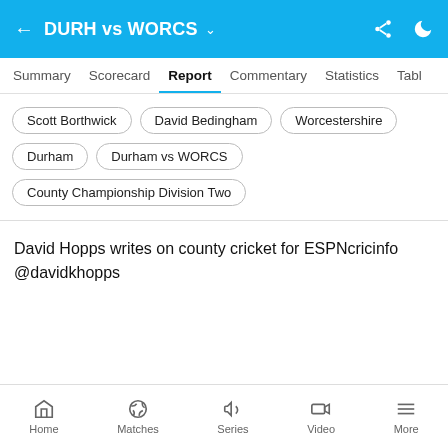DURH vs WORCS
Summary
Scorecard
Report
Commentary
Statistics
Table
Scott Borthwick
David Bedingham
Worcestershire
Durham
Durham vs WORCS
County Championship Division Two
David Hopps writes on county cricket for ESPNcricinfo @davidkhopps
Home  Matches  Series  Video  More